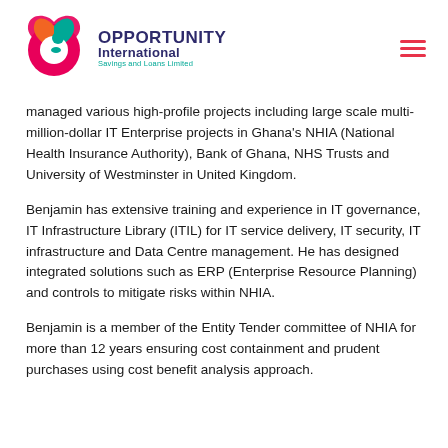[Figure (logo): Opportunity International Savings and Loans Limited logo with colorful circular icon and hamburger menu icon on the right]
managed various high-profile projects including large scale multi-million-dollar IT Enterprise projects in Ghana's NHIA (National Health Insurance Authority), Bank of Ghana, NHS Trusts and University of Westminster in United Kingdom.
Benjamin has extensive training and experience in IT governance, IT Infrastructure Library (ITIL) for IT service delivery, IT security, IT infrastructure and Data Centre management. He has designed integrated solutions such as ERP (Enterprise Resource Planning) and controls to mitigate risks within NHIA.
Benjamin is a member of the Entity Tender committee of NHIA for more than 12 years ensuring cost containment and prudent purchases using cost benefit analysis approach.